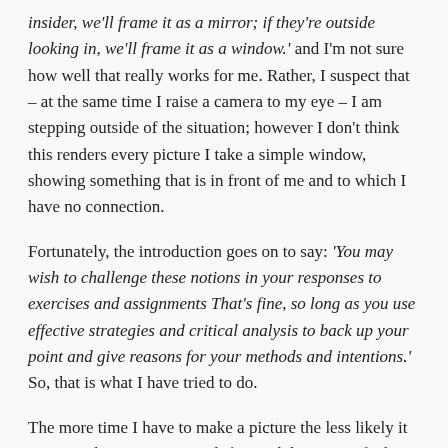insider, we'll frame it as a mirror; if they're outside looking in, we'll frame it as a window.' and I'm not sure how well that really works for me. Rather, I suspect that – at the same time I raise a camera to my eye – I am stepping outside of the situation; however I don't think this renders every picture I take a simple window, showing something that is in front of me and to which I have no connection.
Fortunately, the introduction goes on to say: 'You may wish to challenge these notions in your responses to exercises and assignments That's fine, so long as you use effective strategies and critical analysis to back up your point and give reasons for your methods and intentions.' So, that is what I have tried to do.
The more time I have to make a picture the less likely it is to simply present a straightforward depiction of what my camera is pointed at. I was on my own when I took eight of the ten pictures in this post. In six of those, I was able to